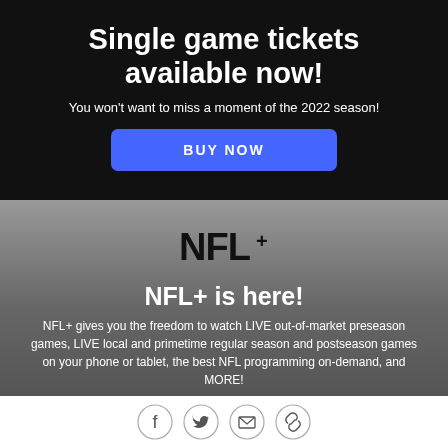Single game tickets available now!
You won't want to miss a moment of the 2022 season!
BUY NOW
[Figure (logo): NFL+ logo in bold serif font]
NFL+ is here!
NFL+ gives you the freedom to watch LIVE out-of-market preseason games, LIVE local and primetime regular season and postseason games on your phone or tablet, the best NFL programming on-demand, and MORE!
[Figure (infographic): Footer social icons: Facebook, Twitter, Email, Link/chain icon]